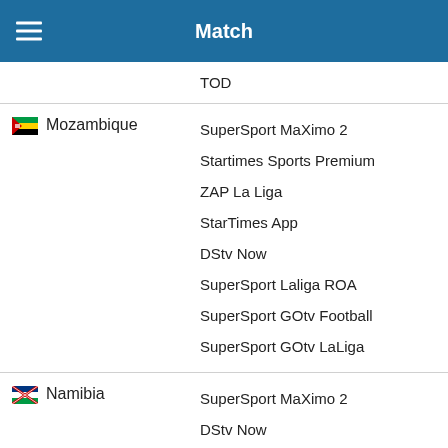Match
TOD
Mozambique — SuperSport MaXimo 2, Startimes Sports Premium, ZAP La Liga, StarTimes App, DStv Now, SuperSport Laliga ROA, SuperSport GOtv Football, SuperSport GOtv LaLiga
Namibia — SuperSport MaXimo 2, DStv Now, SuperSport Laliga ROA, SuperSport GOtv Football, SuperSport GOtv LaLiga